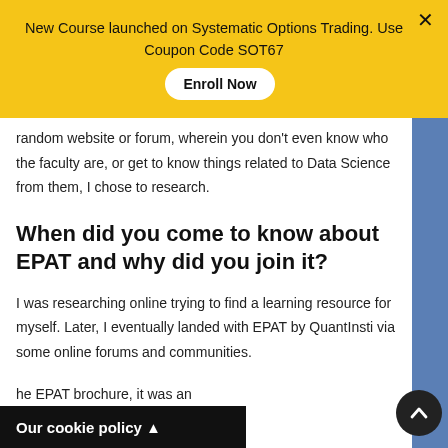New Course launched on Systematic Options Trading. Use Coupon Code SOT67  Enroll Now
random website or forum, wherein you don't even know who the faculty are, or get to know things related to Data Science from them, I chose to research.
When did you come to know about EPAT and why did you join it?
I was researching online trying to find a learning resource for myself. Later, I eventually landed with EPAT by QuantInsti via some online forums and communities.
he EPAT brochure, it was an
Our cookie policy ▲